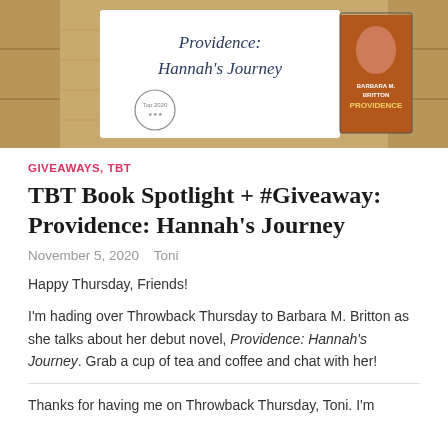[Figure (photo): Banner image for blog post showing a wooden background with text 'Providence: Hannah's Journey' in script font, a decorative wreath logo, and a book cover showing 'Barbara M. Britton Providence' with a woman's face on it.]
GIVEAWAYS, TBT
TBT Book Spotlight + #Giveaway: Providence: Hannah's Journey
November 5, 2020   Toni
Happy Thursday, Friends!
I'm hading over Throwback Thursday to Barbara M. Britton as she talks about her debut novel, Providence: Hannah's Journey. Grab a cup of tea and coffee and chat with her!
Thanks for having me on Throwback Thursday, Toni. I'm